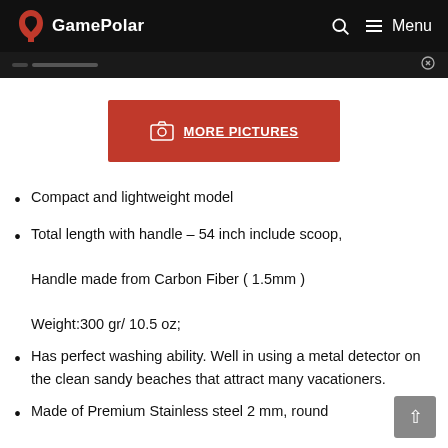GamePolar — Menu
[Figure (screenshot): Red button with camera icon labeled MORE PICTURES]
Compact and lightweight model
Total length with handle – 54 inch include scoop, Handle made from Carbon Fiber ( 1.5mm ) Weight:300 gr/ 10.5 oz;
Has perfect washing ability. Well in using a metal detector on the clean sandy beaches that attract many vacationers.
Made of Premium Stainless steel 2 mm, round